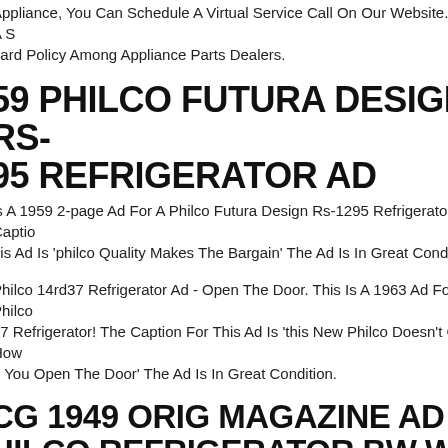Appliance, You Can Schedule A Virtual Service Call On Our Website. This Is A Standard Policy Among Appliance Parts Dealers.
1959 PHILCO FUTURA DESIGN RS-1295 REFRIGERATOR AD
This Is A 1959 2-page Ad For A Philco Futura Design Rs-1295 Refrigerator! The Caption For This Ad Is 'philco Quality Makes The Bargain' The Ad Is In Great Condition.
Philco 14rd37 Refrigerator Ad - Open The Door. This Is A 1963 Ad For A Philco 14rd37 Refrigerator! The Caption For This Ad Is 'this New Philco Doesn't Care How You Open The Door' The Ad Is In Great Condition.
TCG 1949 ORIG MAGAZINE AD PHILCO REFRIGERATOR BW WITH BUILT-IN HOME FREEZER
w Specific Rooms They Are Used In, But Not Limited To Include Kitchens, Rooms And Bathrooms. I Have Also Heard They Are Used For Scrap-booking And Decoupage. All Information, History And Stories Can Now Be Found On Line, But Ads Cannot.
REFRIGERATOR EVAPORATOR MOTOR FITS ELECTROLUX PHILCO #